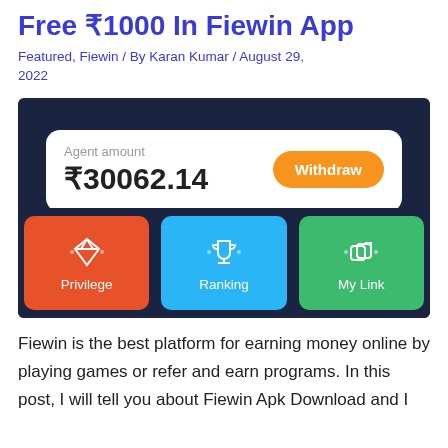Free ₹1000 In Fiewin App
Featured, Fiewin / By Karan Kumar / August 29, 2022
[Figure (screenshot): Fiewin app screenshot showing Agent amount ₹30062.14 with Withdraw button, and three navigation tiles: Privilege (orange), Ranking (blue), My Link (green)]
Fiewin is the best platform for earning money online by playing games or refer and earn programs. In this post, I will tell you about Fiewin Apk Download and I